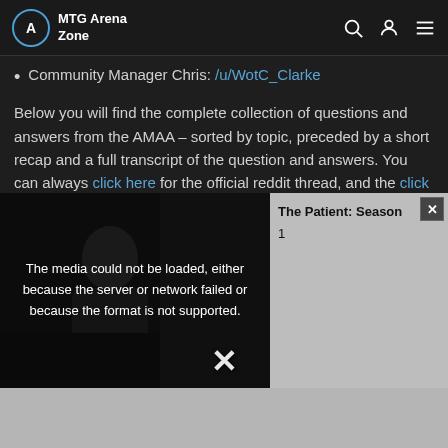MTG Arena Zone
Community Manager Chris: /u/WotC_Clarke
Below you will find the complete collection of questions and answers from the AMAA – sorted by topic, preceded by a short recap and a full transcript of the question and answers. You can always click here for the official reddit thread, and the click here for the pre-AMAA thread where players asked some questions in advance to form the basis for today's
[Figure (screenshot): Video player overlay showing error message: The media could not be loaded, either because the server or network failed or because the format is not supported. Left side shows a person silhouette/thumbnail. Right side shows The Patient: Season text on gray panel.]